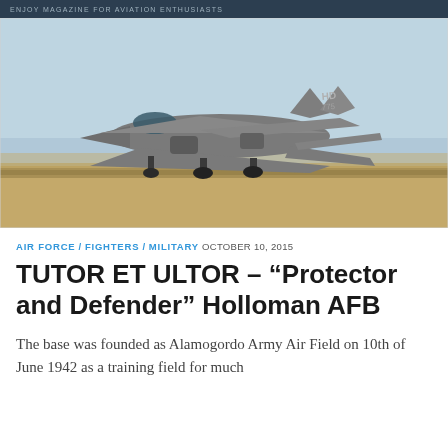ENJOY MAGAZINE FOR AVIATION ENTHUSIASTS
[Figure (photo): F-22 Raptor stealth fighter jet on runway at Holloman AFB, taxiing or taking off, with tail markings 'HD 775', desert landscape background, clear sky]
AIR FORCE / FIGHTERS / MILITARY OCTOBER 10, 2015
TUTOR ET ULTOR – “Protector and Defender” Holloman AFB
The base was founded as Alamogordo Army Air Field on 10th of June 1942 as a training field for much